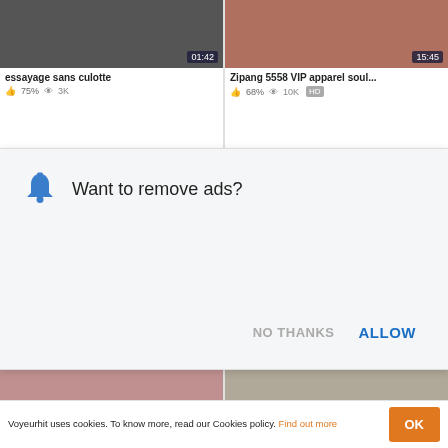[Figure (screenshot): Video thumbnail grid showing adult content website with thumbnails, titles, view counts, and an ad overlay asking 'Want to remove ads?' with NO THANKS and ALLOW buttons, plus a cookie consent bar at bottom.]
essayage sans culotte
75%  3K
Zipang 5558 VIP apparel soul...
68%  10K  HD
Want to remove ads?
NO THANKS
ALLOW
78%  42K
100%  3K
Voyeurhit uses cookies. To know more, read our Cookies policy. Find out more
OK